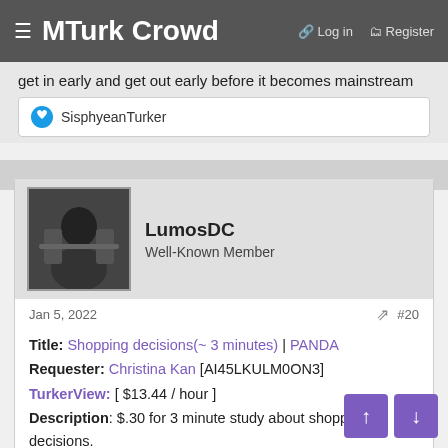MTurk Crowd | Login | Register
get in early and get out early before it becomes mainstream
SisphyeanTurker
LumosDC
Well-Known Member
Jan 5, 2022  #20
Title: Shopping decisions(~ 3 minutes) | PANDA
Requester: Christina Kan [AI45LKULM0ON3]
TurkerView: [ $13.44 / hour ]
Description: $.30 for 3 minute study about shopping decisions.
Duration: 20 Min
Available: 23
Reward: $0.30
Qualifications:
Total approved HITs GreaterThanOrEqualTo 100